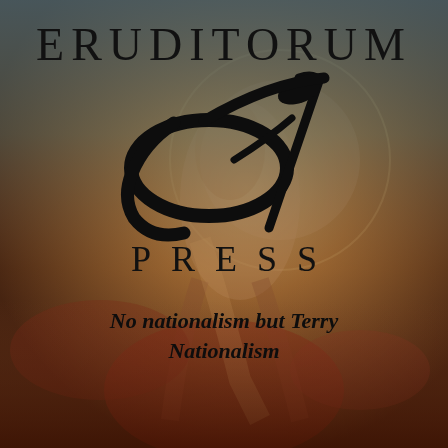[Figure (logo): Eruditorum Press logo page with artistic background (William Blake-style figure painting in warm browns, reds, and muted teal/grey overlay), featuring the Eruditorum Press name and logo (stylized 'EP' monogram in black calligraphy) and a tagline]
ERUDITORUM
[Figure (logo): Stylized calligraphic EP monogram logo in black]
PRESS
No nationalism but Terry Nationalism